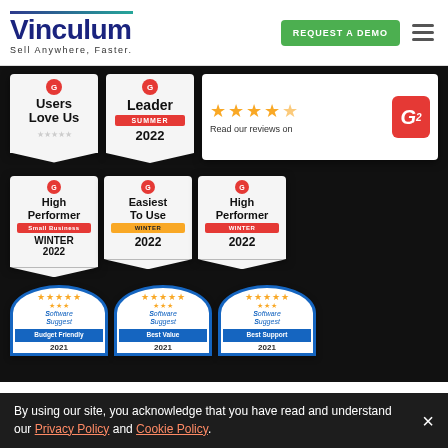Vinculum — Sell Anywhere, Faster. | REQUEST A DEMO
[Figure (logo): Vinculum logo with tagline 'Sell Anywhere, Faster.' and nav items including 'REQUEST A DEMO' green button and hamburger menu]
[Figure (infographic): G2 award badges: 'Users Love Us', 'Leader Summer 2022', G2 star rating review box (4.5 stars - Read our reviews on G2), 'High Performer Small Business Winter 2022', 'Easiest To Use Winter 2022', 'High Performer Winter 2022'. Software Suggest badges: 'Budget Friendly 2021', 'Best Value 2021', 'Best Support 2021'.]
By using our site, you acknowledge that you have read and understand our Privacy Policy and Cookie Policy.